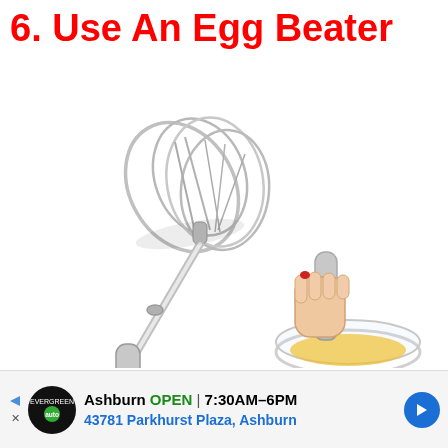6. Use An Egg Beater
[Figure (photo): A stainless steel semi-automatic egg beater / whisk shown at an angle with the whisk head at the top left and a hand gripping the handle at the bottom right, with a bowl of beaten eggs visible beneath the handle end.]
[Figure (infographic): Advertisement banner: Area auto logo (black circle with green text), Ashburn OPEN 7:30AM-6PM, 43781 Parkhurst Plaza, Ashburn, with a blue navigation arrow button on the right.]